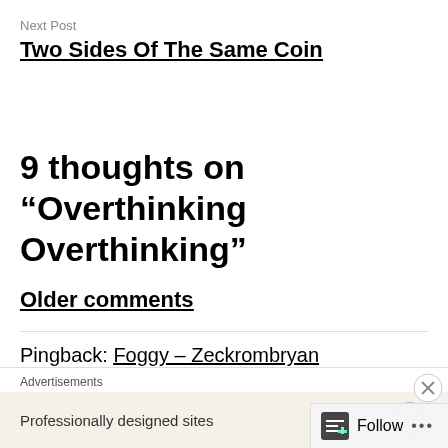Next Post
Two Sides Of The Same Coin
9 thoughts on “Overthinking Overthinking”
Older comments
Pingback: Foggy – Zeckrombryan
Advertisements
Professionally designed sites